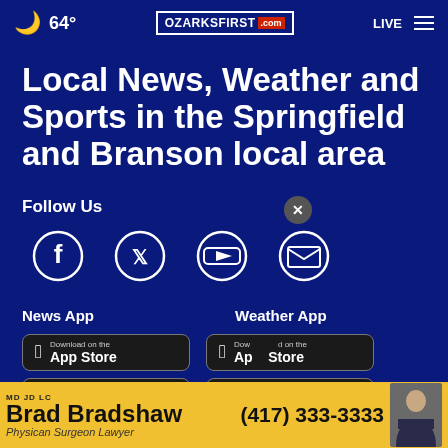64° OZARKSFIRST.com LIVE
Local News, Weather and Sports in the Springfield and Branson local area
Follow Us
[Figure (infographic): Social media icons: Facebook, Twitter, YouTube, Email]
News App
Weather App
[Figure (infographic): App Store and Google Play download buttons for News App and Weather App]
[Figure (infographic): Advertisement banner: Brad Bradshaw MD JD LC Physician Surgeon Lawyer (417) 333-3333]